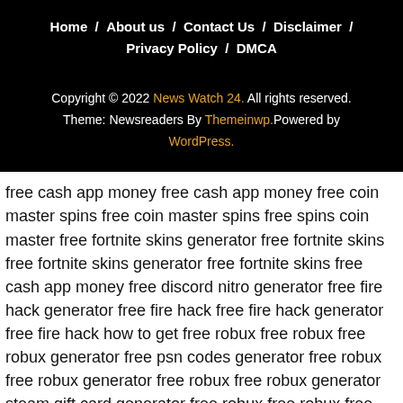Home / About us / Contact Us / Disclaimer / Privacy Policy / DMCA
Copyright © 2022 News Watch 24. All rights reserved. Theme: Newsreaders By Themeinwp.Powered by WordPress.
free cash app money free cash app money free coin master spins free coin master spins free spins coin master free fortnite skins generator free fortnite skins free fortnite skins generator free fortnite skins free cash app money free discord nitro generator free fire hack generator free fire hack free fire hack generator free fire hack how to get free robux free robux free robux generator free psn codes generator free robux free robux generator free robux free robux generator steam gift card generator free robux free robux free robux generator